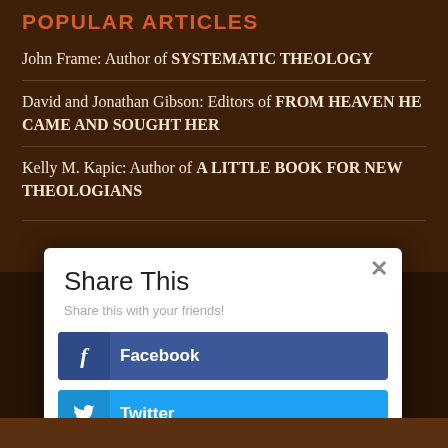POPULAR ARTICLES
John Frame: Author of SYSTEMATIC THEOLOGY
David and Jonathan Gibson: Editors of FROM HEAVEN HE CAME AND SOUGHT HER
Kelly M. Kapic: Author of A LITTLE BOOK FOR NEW THEOLOGIANS
[Figure (screenshot): A 'Share This' modal dialog box with a close button (×), subtitle 'Share this with your friends!', a dark blue Facebook share button with 'f' icon, and a light blue Twitter share button with bird icon.]